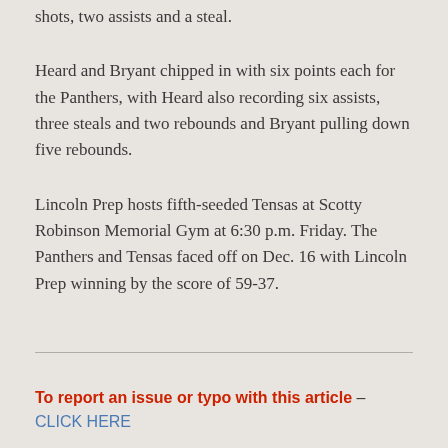shots, two assists and a steal.
Heard and Bryant chipped in with six points each for the Panthers, with Heard also recording six assists, three steals and two rebounds and Bryant pulling down five rebounds.
Lincoln Prep hosts fifth-seeded Tensas at Scotty Robinson Memorial Gym at 6:30 p.m. Friday. The Panthers and Tensas faced off on Dec. 16 with Lincoln Prep winning by the score of 59-37.
To report an issue or typo with this article – CLICK HERE